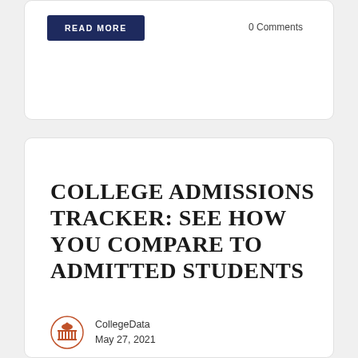[Figure (other): READ MORE button in dark navy blue]
0 Comments
COLLEGE ADMISSIONS TRACKER: SEE HOW YOU COMPARE TO ADMITTED STUDENTS
[Figure (logo): CollegeData circular logo with orange university building icon]
CollegeData
May 27, 2021